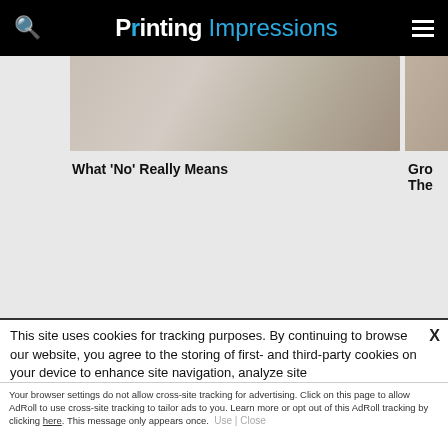Printing Impressions
[Figure (screenshot): Blurred thumbnail image of person typing at a laptop with a smartwatch visible]
What 'No' Really Means
Gro
The
This site uses cookies for tracking purposes. By continuing to browse our website, you agree to the storing of first- and third-party cookies on your device to enhance site navigation, analyze site usage, and assist in our marketing and
Accept and Close ✕
Your browser settings do not allow cross-site tracking for advertising. Click on this page to allow AdRoll to use cross-site tracking to tailor ads to you. Learn more or opt out of this AdRoll tracking by clicking here. This message only appears once.